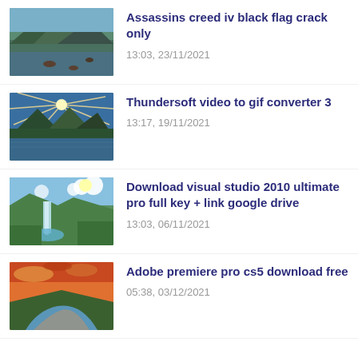Assassins creed iv black flag crack only
13:03, 23/11/2021
Thundersoft video to gif converter 3
13:17, 19/11/2021
Download visual studio 2010 ultimate pro full key + link google drive
13:03, 06/11/2021
Adobe premiere pro cs5 download free
05:38, 03/12/2021